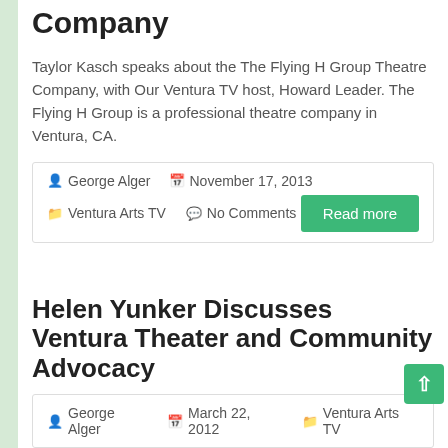Company
Taylor Kasch speaks about the The Flying H Group Theatre Company, with Our Ventura TV host, Howard Leader. The Flying H Group is a professional theatre company in Ventura, CA.
George Alger  November 17, 2013  Ventura Arts TV  No Comments  Read more
Helen Yunker Discusses Ventura Theater and Community Advocacy
Ventura community service advocate, Helen Yunker, discusses her work with Our Ventura host, Camille Harris.
George Alger  March 22, 2012  Ventura Arts TV